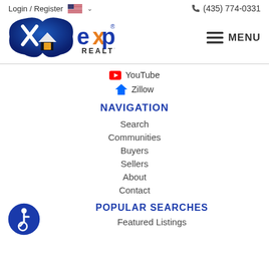Login / Register   (435) 774-0331
[Figure (logo): eXp Realty logo — blue shield with house icon and orange/blue eXp wordmark with REALTY below]
YouTube
Zillow
NAVIGATION
Search
Communities
Buyers
Sellers
About
Contact
POPULAR SEARCHES
Featured Listings